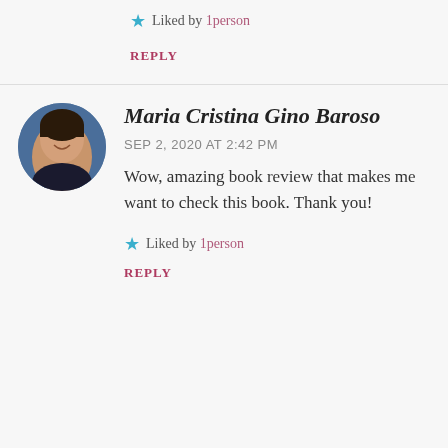Conte's writing and I'm hooked.
★ Liked by 1 person
REPLY
[Figure (photo): Circular avatar photo of Maria Cristina Gino Baroso, a young woman smiling, with a blue background]
Maria Cristina Gino Baroso
SEP 2, 2020 AT 2:42 PM
Wow, amazing book review that makes me want to check this book. Thank you!
★ Liked by 1 person
REPLY